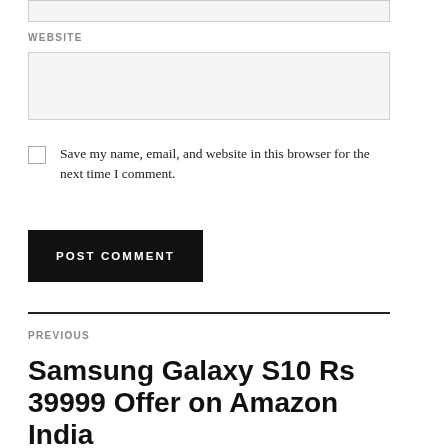WEBSITE
Save my name, email, and website in this browser for the next time I comment.
POST COMMENT
PREVIOUS
Samsung Galaxy S10 Rs 39999 Offer on Amazon India